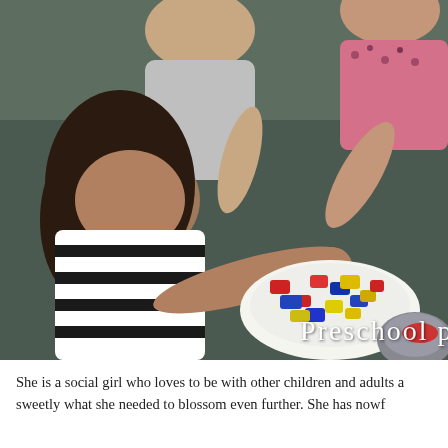[Figure (photo): Children sitting on the floor playing with colorful foam letter/number pieces in plates. A girl in a black and white striped top is prominent in the foreground. Text overlay reads 'Preschool pr' (partially visible).]
She is a social girl who loves to be with other children and adults a sweetly what she needed to blossom even further. She has nowf...